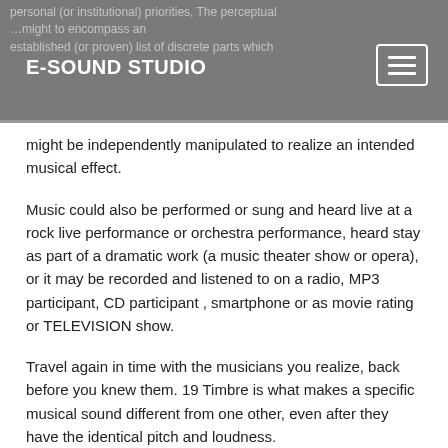E-SOUND STUDIO
personal (or institutional) priorities, The perceptual … might be independently manipulated to realize an intended musical effect.
Music could also be performed or sung and heard live at a rock live performance or orchestra performance, heard stay as part of a dramatic work (a music theater show or opera), or it may be recorded and listened to on a radio, MP3 participant, CD participant , smartphone or as movie rating or TELEVISION show.
Travel again in time with the musicians you realize, back before you knew them. 19 Timbre is what makes a specific musical sound different from one other, even after they have the identical pitch and loudness.